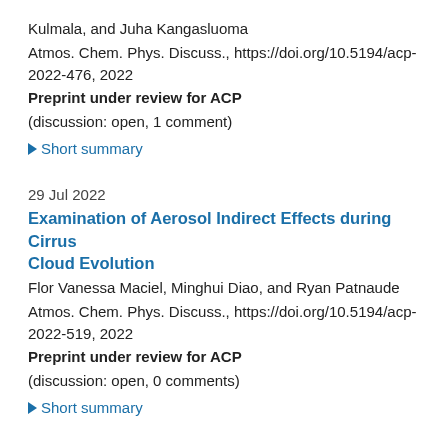Kulmala, and Juha Kangasluoma
Atmos. Chem. Phys. Discuss., https://doi.org/10.5194/acp-2022-476, 2022
Preprint under review for ACP
(discussion: open, 1 comment)
▶ Short summary
29 Jul 2022
Examination of Aerosol Indirect Effects during Cirrus Cloud Evolution
Flor Vanessa Maciel, Minghui Diao, and Ryan Patnaude
Atmos. Chem. Phys. Discuss., https://doi.org/10.5194/acp-2022-519, 2022
Preprint under review for ACP
(discussion: open, 0 comments)
▶ Short summary
28 Jul 2022
High-resolution of CNC Condensation from Membranes...